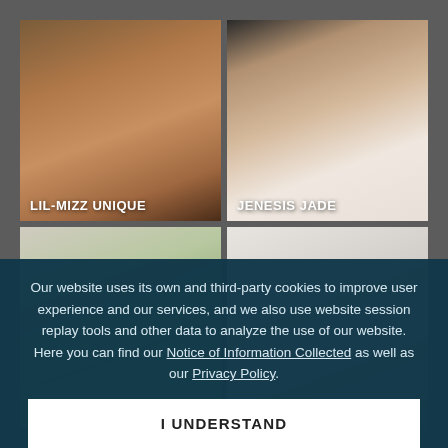[Figure (photo): Photo grid with four model images. Top-left: dark-haired woman labeled LIL-MIZZ UNIQUE against wood background. Top-right: blonde woman labeled JENESIS JADE in white setting with red heels visible. Bottom-left: partially visible photo with plants. Bottom-right: partially visible dark-haired person.]
Our website uses its own and third-party cookies to improve user experience and our services, and we also use website session replay tools and other data to analyze the use of our website. Here you can find our Notice of Information Collected as well as our Privacy Policy.
I UNDERSTAND